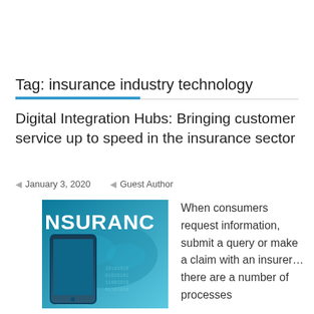Tag: insurance industry technology
Digital Integration Hubs: Bringing customer service up to speed in the insurance sector
January 3, 2020   Guest Author
[Figure (photo): An image showing a tablet device with binary code and a world map, overlaid with the text NSURANC (partial word 'INSURANCE') in white bold text on a teal/blue background.]
When consumers request information, submit a query or make a claim with an insurer… there are a number of processes